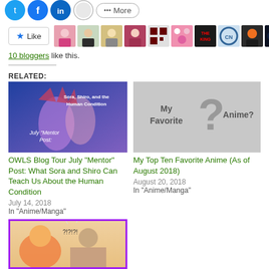[Figure (other): Social media share buttons (Twitter, Facebook, LinkedIn, and more) shown as circular colored icons]
[Figure (other): Like button with star icon followed by a row of 10 blogger avatar thumbnails]
10 bloggers like this.
RELATED:
[Figure (photo): Anime artwork showing characters from No Game No Life with text 'Sora, Shiro, and the Human Condition' and 'July Mentor Post:']
OWLS Blog Tour July "Mentor" Post: What Sora and Shiro Can Teach Us About the Human Condition
July 14, 2018
In "Anime/Manga"
[Figure (other): Gray placeholder image with text 'My Favorite ? Anime?' featuring a large question mark graphic]
My Top Ten Favorite Anime (As of August 2018)
August 20, 2018
In "Anime/Manga"
[Figure (photo): Anime screenshot with two characters and text '?!?!?!' with a purple border]